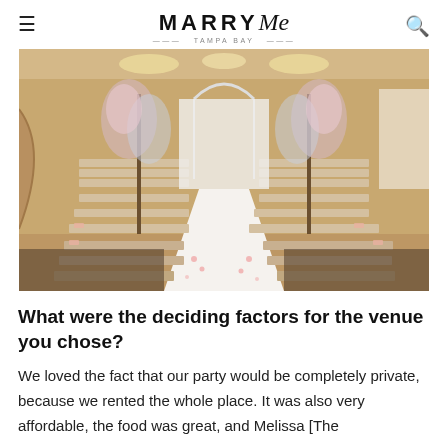MARRY Me TAMPA BAY
[Figure (photo): Interior of an elegant wedding ceremony venue with rows of chiavari chairs lined along a white aisle runner, tall floral arrangements with cherry blossoms and blue flowers, chandeliers overhead, golden walls, and a white draped arch at the altar.]
What were the deciding factors for the venue you chose?
We loved the fact that our party would be completely private, because we rented the whole place. It was also very affordable, the food was great, and Melissa [The